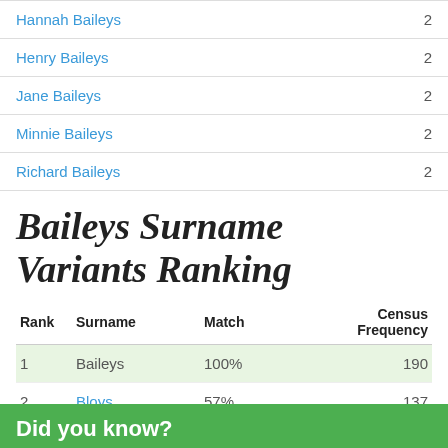Hannah Baileys  2
Henry Baileys  2
Jane Baileys  2
Minnie Baileys  2
Richard Baileys  2
Baileys Surname Variants Ranking
| Rank | Surname | Match | Census Frequency |
| --- | --- | --- | --- |
| 1 | Baileys | 100% | 190 |
| 2 | Bloys | 57% | 137 |
Did you know?